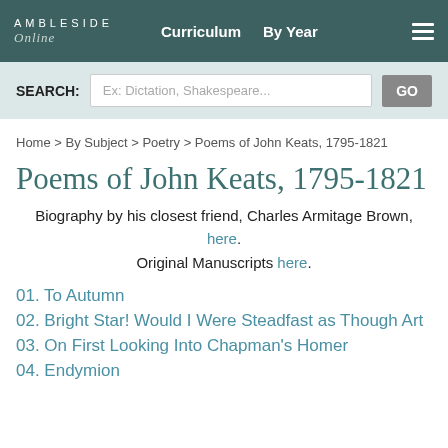AMBLESIDE Online — Curriculum   By Year
SEARCH: Ex: Dictation, Shakespeare... GO
Home > By Subject > Poetry > Poems of John Keats, 1795-1821
Poems of John Keats, 1795-1821
Biography by his closest friend, Charles Armitage Brown, here. Original Manuscripts here.
01. To Autumn
02. Bright Star! Would I Were Steadfast as Though Art
03. On First Looking Into Chapman's Homer
04. Endymion